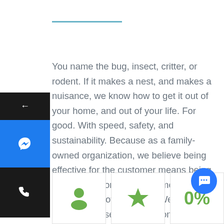[Figure (other): Horizontal blue decorative line near top of page]
[Figure (screenshot): Left sidebar UI overlay with back arrow button (dark), Facebook Messenger icon button (blue), and phone call button (dark)]
You name the bug, insect, critter, or rodent. If it makes a nest, and makes a nuisance, we know how to get it out of your home, and out of your life. For good. With speed, safety, and sustainability. Because as a family-owned organization, we believe being effective for the customer means being responsible for the environment. Frankly, it's not an option. We think it's essential: Essential Pest Control.
[Figure (infographic): Bottom row of three partially visible stat cards: first card with green person/user icon, second card with green star icon, third card with green '0%' text]
[Figure (other): Blue circular chat FAB button with message/chat icon in bottom-right corner]